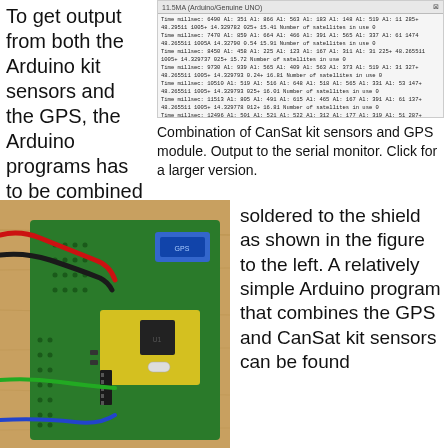To get output from both the Arduino kit sensors and the GPS, the Arduino programs has to be combined and the GPS can be
[Figure (screenshot): Arduino serial monitor screenshot showing lines of sensor and GPS data output including timestamp, coordinates, and number of satellites in use]
Combination of CanSat kit sensors and GPS module. Output to the serial monitor. Click for a larger version.
[Figure (photo): Photo of a GPS module soldered onto a green circuit board shield with colored wires (red, black, green, blue) connected]
soldered to the shield as shown in the figure to the left. A relatively simple Arduino program that combines the GPS and CanSat kit sensors can be found